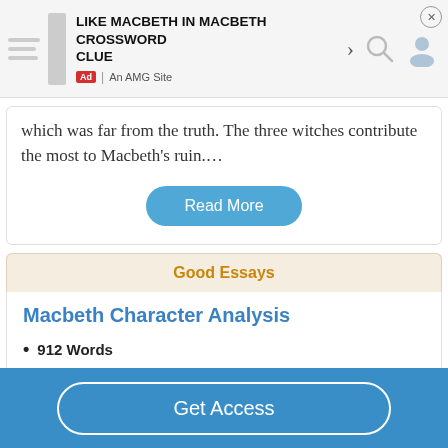[Figure (screenshot): Advertisement banner: LIKE MACBETH IN MACBETH CROSSWORD CLUE, An AMG Site, with close button and icons]
which was far from the truth. The three witches contribute the most to Macbeth's ruin....
Read More
Good Essays
Macbeth Character Analysis
912 Words
4 Pages
Early in the play, Macbeth and his wife toss around the idea
Get Access